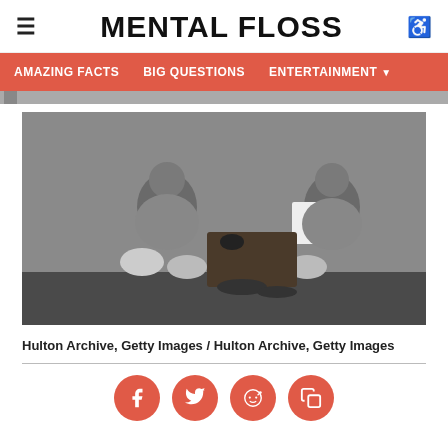≡  MENTAL FLOSS  ♿
AMAZING FACTS   BIG QUESTIONS   ENTERTAINMENT ▾
[Figure (photo): Black and white photograph of two men sitting and laughing, one holding papers, in what appears to be a casual indoor setting]
Hulton Archive, Getty Images / Hulton Archive, Getty Images